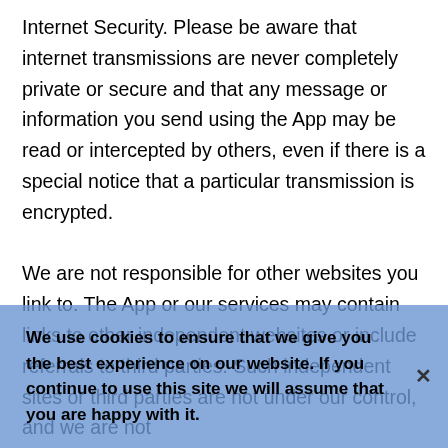Internet Security. Please be aware that internet transmissions are never completely private or secure and that any message or information you send using the App may be read or intercepted by others, even if there is a special notice that a particular transmission is encrypted.
We are not responsible for other websites you link to. The App or our services may contain links to other independent websites or include referrals to third parties. Such independent sites or third parties are not under our control, and we are not responsible for their content or actions. You will need to make your own independent judgment about whether to use any such independent sites or third parties, including whether to buy any
We use cookies to ensure that we give you the best experience on our website. If you continue to use this site we will assume that you are happy with it.